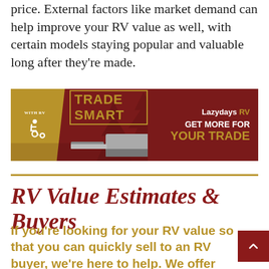price. External factors like market demand can help improve your RV value as well, with certain models staying popular and valuable long after they're made.
[Figure (infographic): Lazydays RV advertisement banner with gold wheelchair accessibility icon, 'TRADE SMART' text with gold border, RV vehicle images, pine tree silhouettes, and text reading 'GET MORE FOR YOUR TRADE']
RV Value Estimates & Buyers
If you're looking for your RV value so that you can quickly sell to an RV buyer, we're here to help. We offer personalized value estimates for RVs, motorhomes, travel trailers, and more. Your RV